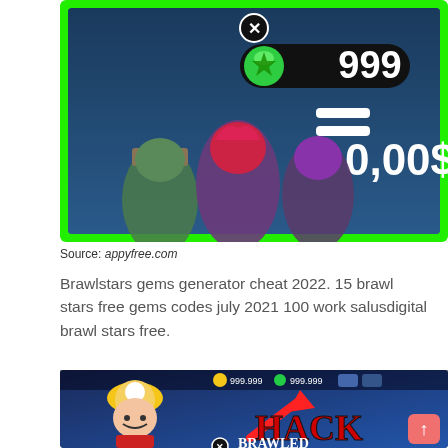[Figure (screenshot): Screenshot of Brawl Stars game showing three characters with a green border, displaying '999' gems and '0,00$' price]
Source: appyfree.com
Brawlstars gems generator cheat 2022. 15 brawl stars free gems codes july 2021 100 work salusdigital brawl stars free.
[Figure (screenshot): Screenshot of Brawl Stars hack/cheat page showing a miner character with HACK BRAWLED text and 999,999 coins and gems displayed]